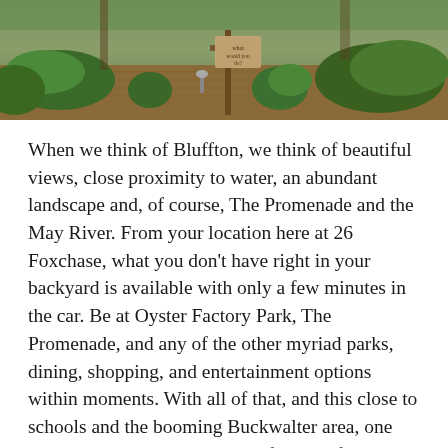[Figure (photo): Outdoor garden scene with mulched ground, green shrubs, ornamental grass, and a wooden sign post with a small sign reading 'what would you do?', plus a landscape spotlight]
When we think of Bluffton, we think of beautiful views, close proximity to water, an abundant landscape and, of course, The Promenade and the May River. From your location here at 26 Foxchase, what you don't have right in your backyard is available with only a few minutes in the car. Be at Oyster Factory Park, The Promenade, and any of the other myriad parks, dining, shopping, and entertainment options within moments. With all of that, and this close to schools and the booming Buckwalter area, one might think that privacy and a feeling of seclusion wouldn't be possible. Welcome... READ MORE
Posted in Exclusive Listings Tagged best agents in